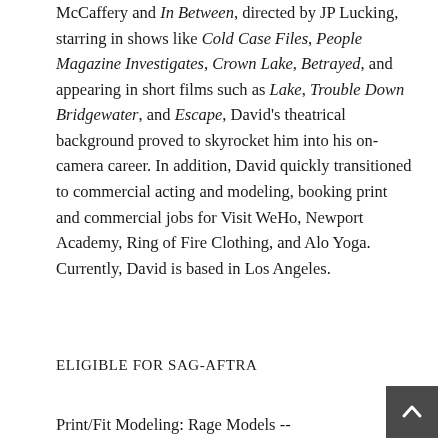McCaffery and In Between, directed by JP Lucking, starring in shows like Cold Case Files, People Magazine Investigates, Crown Lake, Betrayed, and appearing in short films such as Lake, Trouble Down Bridgewater, and Escape, David's theatrical background proved to skyrocket him into his on-camera career. In addition, David quickly transitioned to commercial acting and modeling, booking print and commercial jobs for Visit WeHo, Newport Academy, Ring of Fire Clothing, and Alo Yoga. Currently, David is based in Los Angeles.
ELIGIBLE FOR SAG-AFTRA
Print/Fit Modeling: Rage Models --